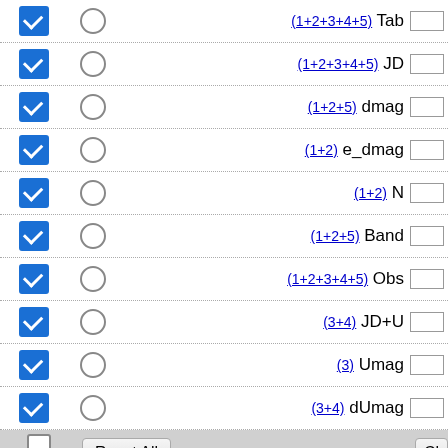[Figure (screenshot): Web interface showing a list of database column selectors. Each row has a blue checked checkbox, a radio button, a linked column reference like (1+2+3+4+5) in blue underlined text, a column name label, and an empty text input box. Columns shown: Tab, JD, dmag, e_dmag, N, Band, Obs, JD+U, Umag, dUmag, then a toolbar row with ALL cols checkbox, Reset All button, Cl button, then Band1, JD+B, Bmag, dBmag.]